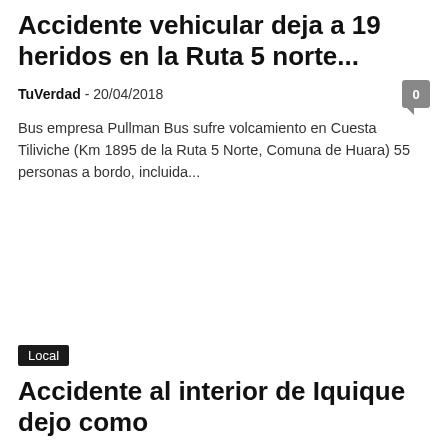Accidente vehicular deja a 19 heridos en la Ruta 5 norte...
TuVerdad - 20/04/2018
Bus empresa Pullman Bus sufre volcamiento en Cuesta Tiliviche (Km 1895 de la Ruta 5 Norte, Comuna de Huara) 55 personas a bordo, incluida...
Local
Accidente al interior de Iquique dejo como